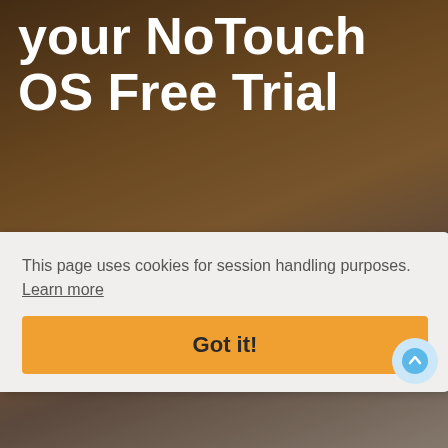your NoTouch OS Free Trial
Free Trial grants you 30 day access to Stratodesk software.
This page uses cookies for session handling purposes. Learn more
Got it!